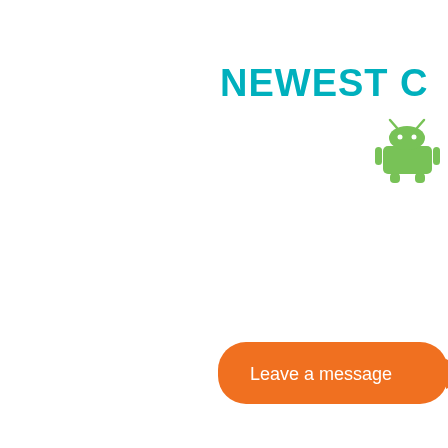NEWEST C
[Figure (photo): Android logo (green robot icon)]
[Figure (photo): H96 Pro+ Android TV box product photo showing the side and top of the black device with a red diagonal banner reading 'H96 Pro+' and 4K Ultra HD labeling, plus a USB port on the side]
[Figure (infographic): Orange speech bubble with text 'Leave a message' pointing to an orange circle with a white envelope/message icon]